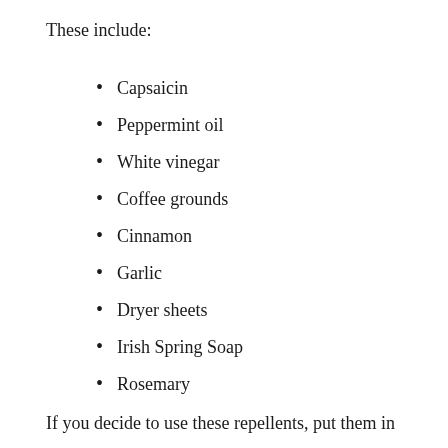These include:
Capsaicin
Peppermint oil
White vinegar
Coffee grounds
Cinnamon
Garlic
Dryer sheets
Irish Spring Soap
Rosemary
If you decide to use these repellents, put them in